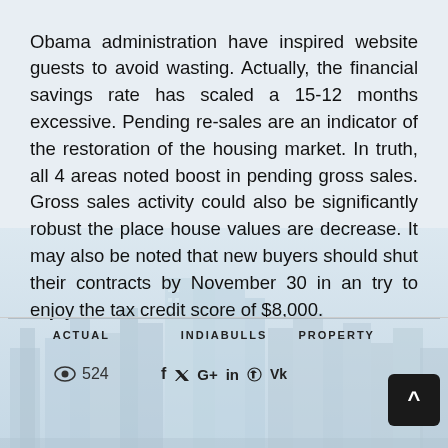Obama administration have inspired website guests to avoid wasting. Actually, the financial savings rate has scaled a 15-12 months excessive. Pending re-sales are an indicator of the restoration of the housing market. In truth, all 4 areas noted boost in pending gross sales. Gross sales activity could also be significantly robust the place house values are decrease. It may also be noted that new buyers should shut their contracts by November 30 in an try to enjoy the tax credit score of $8,000.
[Figure (photo): City skyline background image with buildings, light blue/grey tones]
ACTUAL   INDIABULLS   PROPERTY   👁 524   f  🐦  G+  in   Pinterest  VK